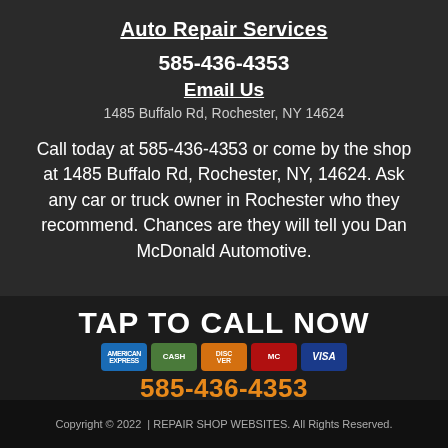Auto Repair Services
585-436-4353
Email Us
1485 Buffalo Rd, Rochester, NY 14624
Call today at 585-436-4353 or come by the shop at 1485 Buffalo Rd, Rochester, NY, 14624. Ask any car or truck owner in Rochester who they recommend. Chances are they will tell you Dan McDonald Automotive.
TAP TO CALL NOW
585-436-4353
Copyright © 2022 | REPAIR SHOP WEBSITES. All Rights Reserved.